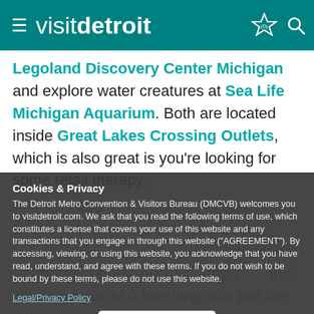visitdetroit
Legoland Discovery Center Michigan and explore water creatures at Sea Life Michigan Aquarium. Both are located inside Great Lakes Crossing Outlets, which is also great is you're looking for some retail therapy.
... 100 ... go-to ... place at ... Scream ... er. ... No ... s ... by 7 ... ine, which is more 650-feet long with just the right amount of scary.
Cookies & Privacy
The Detroit Metro Convention & Visitors Bureau (DMCVB) welcomes you to visitdetroit.com. We ask that you read the following terms of use, which constitutes a license that covers your use of this website and any transactions that you engage in through this website ("AGREEMENT"). By accessing, viewing, or using this website, you acknowledge that you have read, understand, and agree with these terms. If you do not wish to be bound by these terms, please do not use this website.
Legal/Privacy Policy
Accept
Run through the pop jet fountains, climb